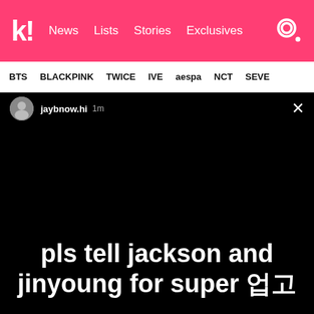k! News  Lists  Stories  Exclusives
BTS  BLACKPINK  TWICE  IVE  aespa  NCT  SEVE
[Figure (screenshot): Instagram story screenshot showing username 'jaybnow.hi' with timestamp '1m' and close button. Black background with white bold text reading 'pls tell jackson and jinyoung for super 업고']